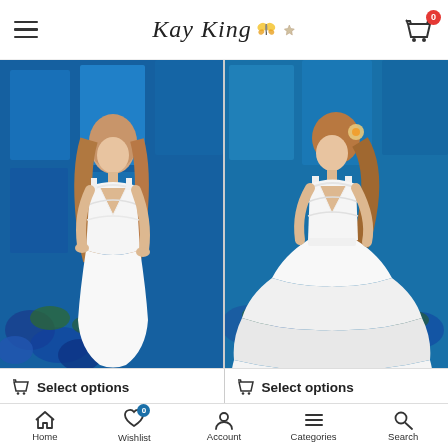Kay King — navigation header with hamburger menu, logo, and cart (0 items)
[Figure (photo): Woman in a white sleeveless V-neck sheath/mermaid wedding dress against a blue background with blue flowers]
[Figure (photo): Woman in a white sleeveless V-neck ball gown wedding dress with tiered tulle skirt against a blue background with blue flowers]
Select options
Select options
Home | Wishlist (0) | Account | Categories | Search